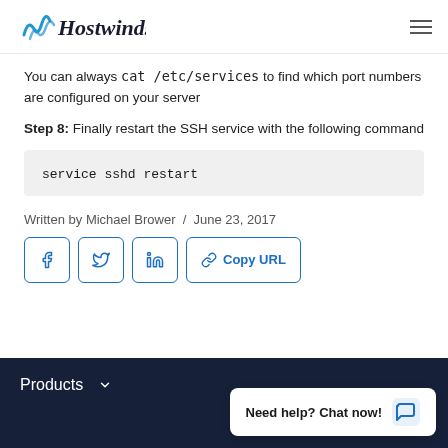Hostwinds
You can always cat /etc/services  to find which port numbers are configured on your server
Step 8: Finally restart the SSH service with the following command
service sshd restart
Written by Michael Brower  /  June 23, 2017
[Figure (other): Social share buttons: Facebook, Twitter, LinkedIn, Copy URL]
Products
Need help? Chat now!